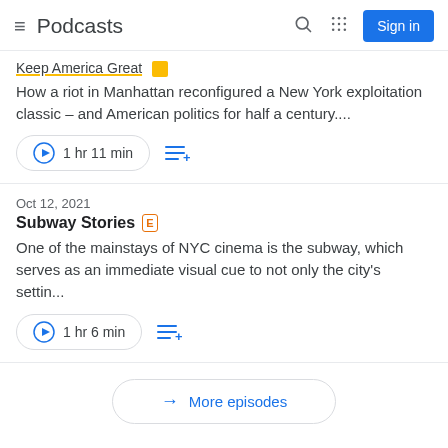Podcasts — Sign in
Keep America Great [partial/clipped title with underline]
How a riot in Manhattan reconfigured a New York exploitation classic – and American politics for half a century....
1 hr 11 min
Oct 12, 2021
Subway Stories [E]
One of the mainstays of NYC cinema is the subway, which serves as an immediate visual cue to not only the city's settin...
1 hr 6 min
More episodes